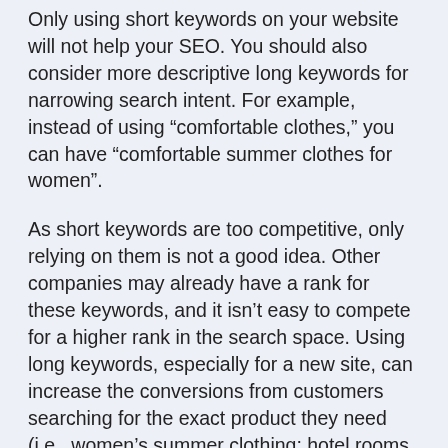Only using short keywords on your website will not help your SEO. You should also consider more descriptive long keywords for narrowing search intent. For example, instead of using “comfortable clothes,” you can have “comfortable summer clothes for women”.
As short keywords are too competitive, only relying on them is not a good idea. Other companies may already have a rank for these keywords, and it isn’t easy to compete for a higher rank in the search space. Using long keywords, especially for a new site, can increase the conversions from customers searching for the exact product they need (i.e., women’s summer clothing; hotel rooms with water heaters and free breakfast, etc.).
You can have many keyword research tools, including Google’s Keyword Planner or Keyword Tool for